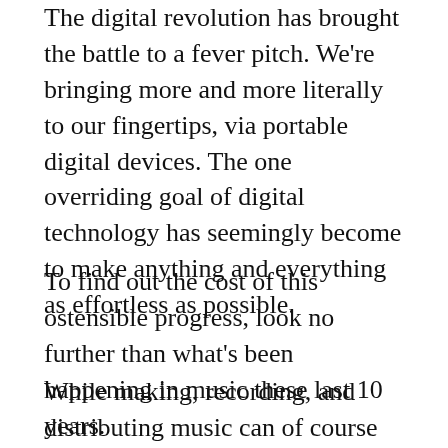The digital revolution has brought the battle to a fever pitch. We're bringing more and more literally to our fingertips, via portable digital devices. The one overriding goal of digital technology has seemingly become to make anything and everything as effortless as possible.
To find out the cost of this ostensible progress, look no further than what's been happening in music these last 10 years.
While making, recording, and distributing music can of course still require a significant amount of effort, it may also, now, require very little effort. Because believe me, if the music everyone is making in the 21st century were